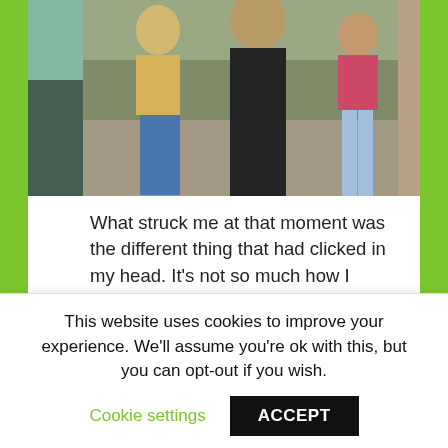[Figure (photo): Outdoor photo showing several people including children and adults, partially cropped, showing torsos and legs. Background appears to be an outdoor summer setting.]
What struck me at that moment was the different thing that had clicked in my head. It's not so much how I look, but how I feel. These last two weeks, I have stuck to a really tough diet – and I've done it. I've beaten the demons, overcome my fail points, decided I want change more than food or the comfort of eating. And I think that is what was beaming out of my face, pleasure at feeling happier. I'm ready to start running again, my back doesn't hurt and I'm confident I can carry on till I get to the (not actually particularly low) weight I know I will be happy at.
This website uses cookies to improve your experience. We'll assume you're ok with this, but you can opt-out if you wish.
Cookie settings    ACCEPT